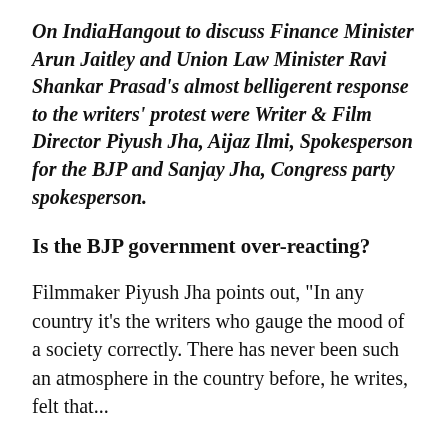On IndiaHangout to discuss Finance Minister Arun Jaitley and Union Law Minister Ravi Shankar Prasad's almost belligerent response to the writers' protest were Writer & Film Director Piyush Jha, Aijaz Ilmi, Spokesperson for the BJP and Sanjay Jha, Congress party spokesperson.
Is the BJP government over-reacting?
Filmmaker Piyush Jha points out, "In any country it's the writers who gauge the mood of a society correctly. There has never been such an atmosphere in the country before, he writes, felt that...